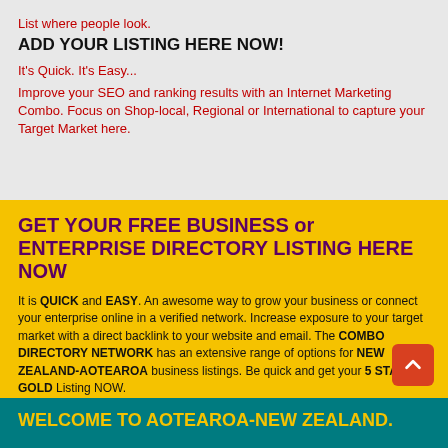List where people look.
ADD YOUR LISTING HERE NOW!
It's Quick. It's Easy...
Improve your SEO and ranking results with an Internet Marketing Combo. Focus on Shop-local, Regional or International to capture your Target Market here.
GET YOUR FREE BUSINESS or ENTERPRISE DIRECTORY LISTING HERE NOW
It is QUICK and EASY. An awesome way to grow your business or connect your enterprise online in a verified network. Increase exposure to your target market with a direct backlink to your website and email. The COMBO DIRECTORY NETWORK has an extensive range of options for NEW ZEALAND-AOTEAROA business listings. Be quick and get your 5 STAR GOLD Listing NOW.
WELCOME TO AOTEAROA-NEW ZEALAND.